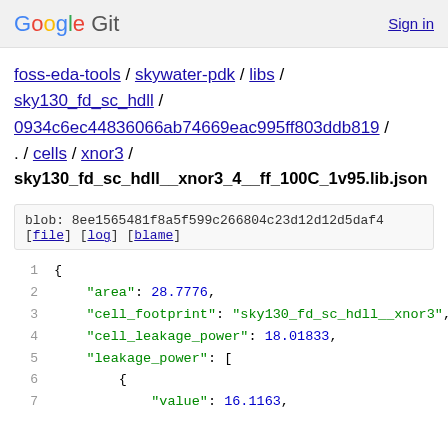Google Git   Sign in
foss-eda-tools / skywater-pdk / libs / sky130_fd_sc_hdll / 0934c6ec44836066ab74669eac995ff803ddb819 / . / cells / xnor3 /
sky130_fd_sc_hdll__xnor3_4__ff_100C_1v95.lib.json
blob: 8ee1565481f8a5f599c266804c23d12d12d5daf4
[file] [log] [blame]
1  {
2      "area": 28.7776,
3      "cell_footprint": "sky130_fd_sc_hdll__xnor3",
4      "cell_leakage_power": 18.01833,
5      "leakage_power": [
6          {
7              "value": 16.1163,